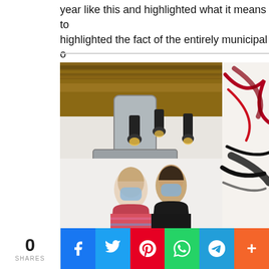year like this and highlighted what it means to... highlighted the fact of the entirely municipal o... it continues to go out to meet the public in othe...
[Figure (photo): Two men wearing blue face masks standing inside what appears to be an art gallery or studio space with industrial-style ceiling lights, exposed ductwork, wooden beams, and abstract artwork visible on the right side of the image.]
0 SHARES | Facebook | Twitter | Pinterest | WhatsApp | Telegram | More